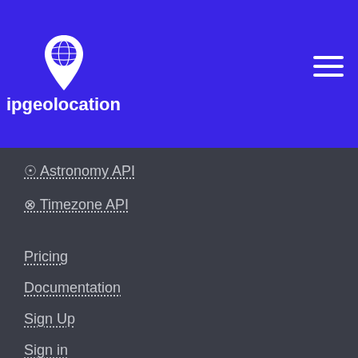[Figure (logo): ipgeolocation logo: map pin with globe icon and text 'ipgeolocation' on blue header background]
☉ Astronomy API
⊗ Timezone API
Pricing
Documentation
Sign Up
Sign in
Browse IPs
Browse ASNs
Browse ASNs By Country